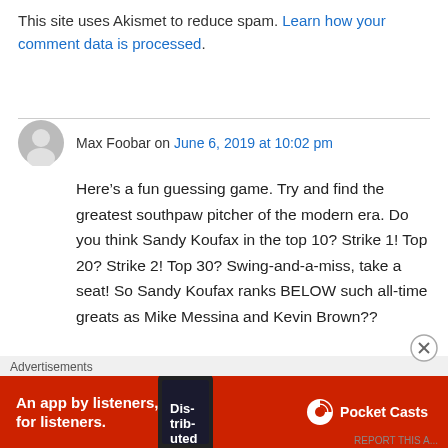This site uses Akismet to reduce spam. Learn how your comment data is processed.
Max Foobar on June 6, 2019 at 10:02 pm
Here’s a fun guessing game. Try and find the greatest southpaw pitcher of the modern era. Do you think Sandy Koufax in the top 10? Strike 1! Top 20? Strike 2! Top 30? Swing-and-a-miss, take a seat! So Sandy Koufax ranks BELOW such all-time greats as Mike Messina and Kevin Brown??
Advertisements
[Figure (other): Red advertisement banner for Pocket Casts app: 'An app by listeners, for listeners.' with Pocket Casts logo and phone image]